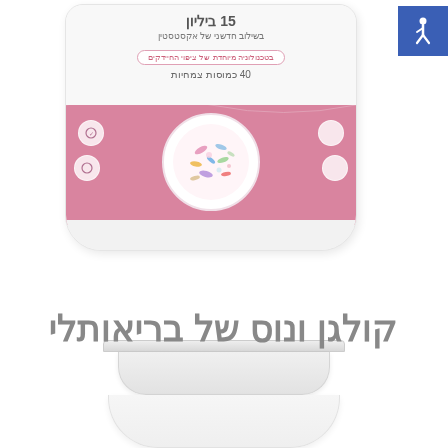[Figure (photo): A white and pink cylindrical supplement jar with Hebrew text reading '15 billion', probiotic product with pink wave and bacteria illustration. Accessibility wheelchair symbol in top right corner. Bottom portion of a second jar (lid and body) visible below.]
קולגן ונוס של בריאותלי